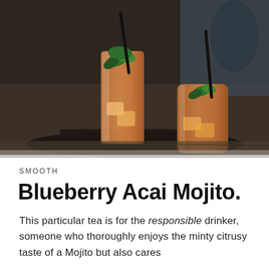[Figure (photo): Two tall glasses of iced tea/mojito drinks with mint garnish and black straws, sitting on a dark surface at a cafe or bar setting. The drinks are amber/orange colored with mint leaves and ice.]
SMOOTH
Blueberry Acai Mojito.
This particular tea is for the responsible drinker, someone who thoroughly enjoys the minty citrusy taste of a Mojito but also cares about health too, without wanting to...